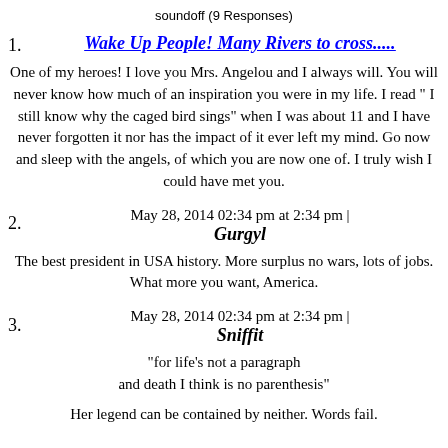soundoff (9 Responses)
Wake Up People! Many Rivers to cross.....
One of my heroes! I love you Mrs. Angelou and I always will. You will never know how much of an inspiration you were in my life. I read " I still know why the caged bird sings" when I was about 11 and I have never forgotten it nor has the impact of it ever left my mind. Go now and sleep with the angels, of which you are now one of. I truly wish I could have met you.
May 28, 2014 02:34 pm at 2:34 pm | Gurgyl
The best president in USA history. More surplus no wars, lots of jobs. What more you want, America.
May 28, 2014 02:34 pm at 2:34 pm | Sniffit
"for life's not a paragraph and death I think is no parenthesis"
Her legend can be contained by neither. Words fail.